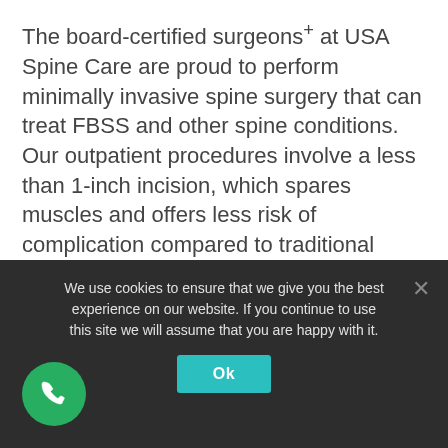The board-certified surgeons+ at USA Spine Care are proud to perform minimally invasive spine surgery that can treat FBSS and other spine conditions. Our outpatient procedures involve a less than 1-inch incision, which spares muscles and offers less risk of complication compared to traditional open spine surgery.
We use cookies to ensure that we give you the best experience on our website. If you continue to use this site we will assume that you are happy with it.
[Figure (other): Green circular phone/call button icon]